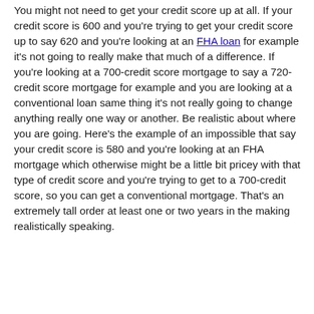You might not need to get your credit score up at all. If your credit score is 600 and you're trying to get your credit score up to say 620 and you're looking at an FHA loan for example it's not going to really make that much of a difference. If you're looking at a 700-credit score mortgage to say a 720-credit score mortgage for example and you are looking at a conventional loan same thing it's not really going to change anything really one way or another. Be realistic about where you are going. Here's the example of an impossible that say your credit score is 580 and you're looking at an FHA mortgage which otherwise might be a little bit pricey with that type of credit score and you're trying to get to a 700-credit score, so you can get a conventional mortgage. That's an extremely tall order at least one or two years in the making realistically speaking.